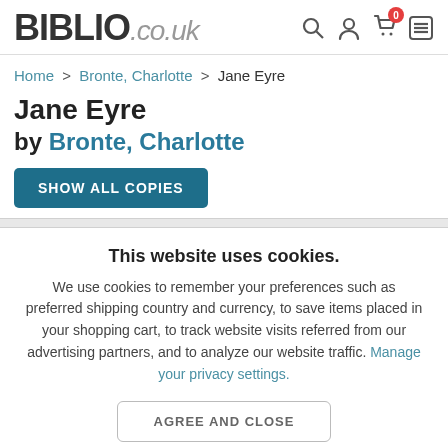BIBLIO.co.uk
Home > Bronte, Charlotte > Jane Eyre
Jane Eyre
by Bronte, Charlotte
SHOW ALL COPIES
This website uses cookies.
We use cookies to remember your preferences such as preferred shipping country and currency, to save items placed in your shopping cart, to track website visits referred from our advertising partners, and to analyze our website traffic. Manage your privacy settings.
AGREE AND CLOSE